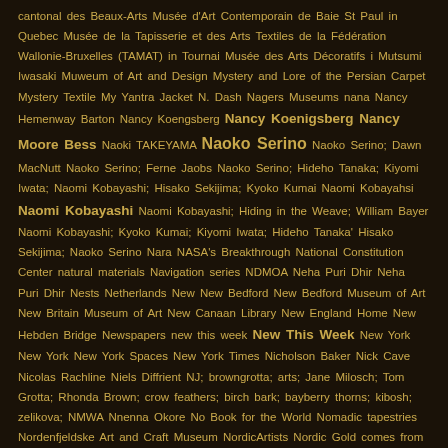cantonal des Beaux-Arts Musée d'Art Contemporain de Baie St Paul in Quebec Musée de la Tapisserie et des Arts Textiles de la Fédération Wallonie-Bruxelles (TAMAT) in Tournai Musée des Arts Décoratifs i Mutsumi Iwasaki Muweum of Art and Design Mystery and Lore of the Persian Carpet Mystery Textile My Yantra Jacket N. Dash Nagers Museums nana Nancy Hemenway Barton Nancy Koengsberg Nancy Koenigsberg Nancy Moore Bess Naoki TAKEYAMA Naoko Serino Naoko Serino; Dawn MacNutt Naoko Serino; Ferne Jaobs Naoko Serino; Hideho Tanaka; Kiyomi Iwata; Naomi Kobayashi; Hisako Sekijima; Kyoko Kumai Naomi Kobayahsi Naomi Kobayashi Naomi Kobayashi; Hiding in the Weave; William Bayer Naomi Kobayashi; Kyoko Kumai; Kiyomi Iwata; Hideho Tanaka' Hisako Sekijima; Naoko Serino Nara NASA's Breakthrough National Constitution Center natural materials Navigation series NDMOA Neha Puri Dhir Neha Puri Dhir Nests Netherlands New New Bedford New Bedford Museum of Art New Britain Museum of Art New Canaan Library New England Home New Hebden Bridge Newspapers new this week New This Week New York New York New York Spaces New York Times Nicholson Baker Nick Cave Nicolas Rachline Niels Diffrient NJ; browngrotta; arts; Jane Milosch; Tom Grotta; Rhonda Brown; crow feathers; birch bark; bayberry thorns; kibosh; zelikova; NMWA Nnenna Okore No Book for the World Nomadic tapestries Nordenfjeldske Art and Craft Museum NordicArtists Nordic Gold comes from the Sea Nordic Tapestry Group Norie Hatakeyama Norie Hatekayama Norie Hatakeyama; Jennifer Falck Linssen; Noriko Takamiya Norko Takamiyam Axel Russmeyer